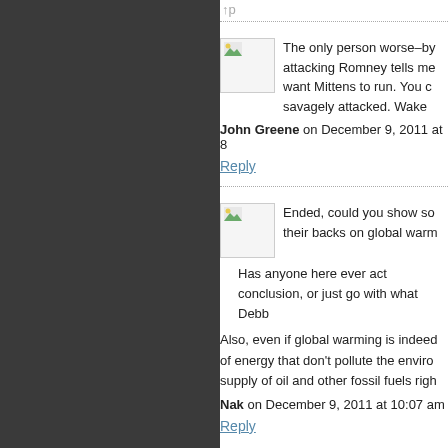The only person worse–by attacking Romney tells me want Mittens to run. You c savagely attacked. Wake
John Greene on December 9, 2011 at 8
Reply
Ended, could you show so their backs on global warm
Has anyone here ever act conclusion, or just go with what Debb
Also, even if global warming is indeed of energy that don't pollute the enviro supply of oil and other fossil fuels righ
Nak on December 9, 2011 at 10:07 am
Reply